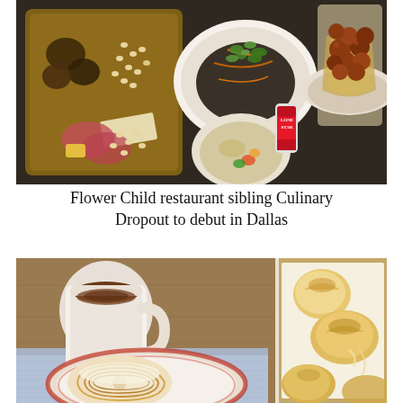[Figure (photo): Overhead view of restaurant food spread: charcuterie board with mushrooms, pine nuts, cheese and meats; plate with herbs and dark ingredients; bowl of roasted potatoes in paper; small bowl of grain and vegetable salad; Lone Star beer can on dark background.]
Flower Child restaurant sibling Culinary Dropout to debut in Dallas
[Figure (photo): Two food photos side by side: left shows a cinnamon roll on a decorative red-rimmed plate with a mug of hot chocolate on a light blue cloth; right shows golden baked rolls on a baking sheet with parchment paper.]